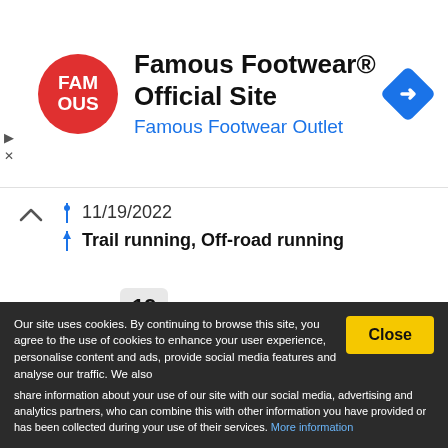[Figure (screenshot): Famous Footwear ad banner with red circle FAM/OUS logo, bold title 'Famous Footwear® Official Site', blue subtitle 'Famous Footwear Outlet', and blue diamond navigation icon on the right]
11/19/2022
Trail running, Off-road running
19 km
Course nature en nocturne de 19 Km à 17h30.
Our site uses cookies. By continuing to browse this site, you agree to the use of cookies to enhance your user experience, personalise content and ads, provide social media features and analyse our traffic. We also share information about your use of our site with our social media, advertising and analytics partners, who can combine this with other information you have provided or has been collected during your use of their services. More information